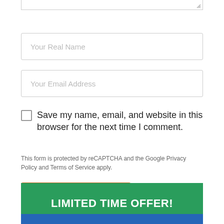[Figure (screenshot): Top portion of a textarea input field (bottom edge visible with resize handle)]
Your Real Name
Your Email Address
Save my name, email, and website in this browser for the next time I comment.
This form is protected by reCAPTCHA and the Google Privacy Policy and Terms of Service apply.
Add Your Comment
LIMITED TIME OFFER!